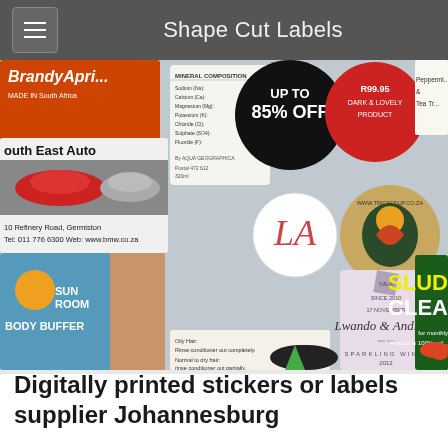Shape Cut Labels
[Figure (photo): Collage of various digitally printed stickers and labels including automotive labels, wine bottle labels, circular stickers with promotional text, body care labels, and cleaning product labels.]
Digitally printed stickers or labels supplier Johannesburg